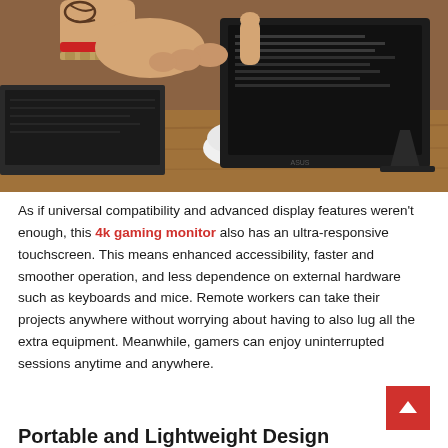[Figure (photo): A tattooed hand with a red bracelet and bracelet pointing at a portable touchscreen monitor/tablet display propped on a wooden desk, with a white mouse and laptop visible in the background.]
As if universal compatibility and advanced display features weren't enough, this 4k gaming monitor also has an ultra-responsive touchscreen. This means enhanced accessibility, faster and smoother operation, and less dependence on external hardware such as keyboards and mice. Remote workers can take their projects anywhere without worrying about having to also lug all the extra equipment. Meanwhile, gamers can enjoy uninterrupted sessions anytime and anywhere.
Portable and Lightweight Design